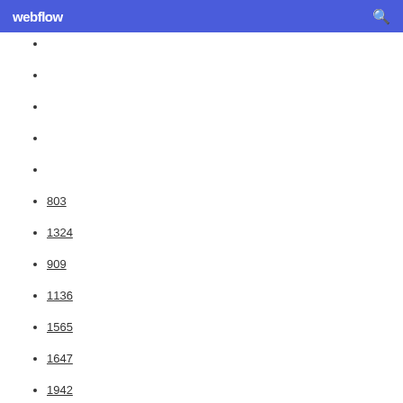webflow
803
1324
909
1136
1565
1647
1942